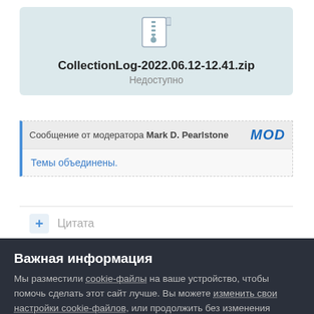[Figure (other): ZIP file attachment card with file icon showing CollectionLog-2022.06.12-12.41.zip and status 'Недоступно' on a light teal background]
Сообщение от модератора Mark D. Pearlstone
MOD
Темы объединены.
+ Цитата
Важная информация
Мы разместили cookie-файлы на ваше устройство, чтобы помочь сделать этот сайт лучше. Вы можете изменить свои настройки cookie-файлов, или продолжить без изменения настроек.
✓ Я принимаю